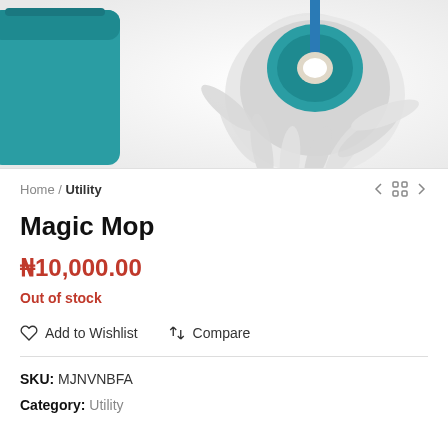[Figure (photo): A teal/turquoise spin mop head with white microfiber strands shown beside a teal bucket on a white background.]
Home / Utility
Magic Mop
₦10,000.00
Out of stock
Add to Wishlist   Compare
SKU: MJNVNBFA
Category: Utility